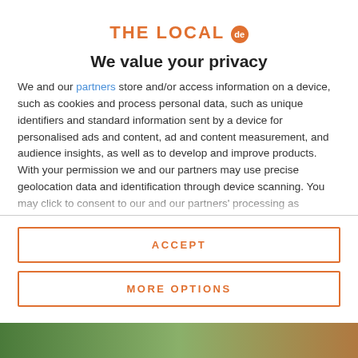[Figure (logo): THE LOCAL de logo with orange text and circular badge]
We value your privacy
We and our partners store and/or access information on a device, such as cookies and process personal data, such as unique identifiers and standard information sent by a device for personalised ads and content, ad and content measurement, and audience insights, as well as to develop and improve products. With your permission we and our partners may use precise geolocation data and identification through device scanning. You may click to consent to our and our partners' processing as described above. Alternatively you may access more detailed information and change your preferences before consenting
ACCEPT
MORE OPTIONS